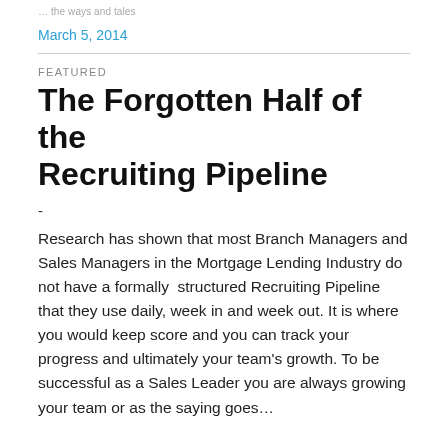… the ways and tales
March 5, 2014
FEATURED
The Forgotten Half of the Recruiting Pipeline
-
Research has shown that most Branch Managers and Sales Managers in the Mortgage Lending Industry do not have a formally  structured Recruiting Pipeline that they use daily, week in and week out. It is where you would keep score and you can track your progress and ultimately your team's growth. To be successful as a Sales Leader you are always growing your team or as the saying goes…